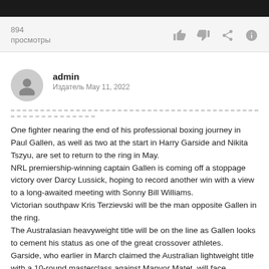894
просмотры
admin
Издатель May 11, 2022
One fighter nearing the end of his professional boxing journey in Paul Gallen, as well as two at the start in Harry Garside and Nikita Tszyu, are set to return to the ring in May.
NRL premiership-winning captain Gallen is coming off a stoppage victory over Darcy Lussick, hoping to record another win with a view to a long-awaited meeting with Sonny Bill Williams.
Victorian southpaw Kris Terzievski will be the man opposite Gallen in the ring.
The Australasian heavyweight title will be on the line as Gallen looks to cement his status as one of the great crossover athletes.
Garside, who earlier in March claimed the Australian lightweight title with a 10-round masterclass against Manvor Matet, will face